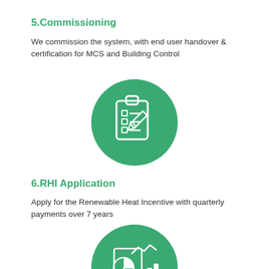5.Commissioning
We commission the system, with end user handover & certification for MCS and Building Control
[Figure (illustration): Green circle icon with a clipboard and pencil/pen symbol, representing commissioning and certification]
6.RHI Application
Apply for the Renewable Heat Incentive with quarterly payments over 7 years
[Figure (illustration): Green circle icon with a pie chart and bar chart symbol alongside a document/paper, representing financial application]